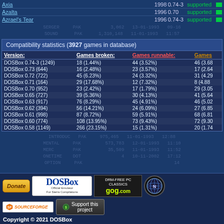| Game | Year | Version | Status |
| --- | --- | --- | --- |
| Axia | 1998 | 0.74-3 | supported |
| Azalta | 1996 | 0.70 | supported |
| Azrael's Tear | 1996 | 0.74-3 | supported |
SERGER PAK 3,062 13-01-1993 09-16
SOUND PAK 1,310,148 11-01-1993 11:57
| Version: | Games broken: | Games runnable: | Games |
| --- | --- | --- | --- |
| DOSBox 0.74-3 (1249) | 18 (1.44%) | 44 (3.52%) | 46 (3.68%) |
| DOSBox 0.73 (644) | 16 (2.48%) | 23 (3.57%) | 17 (2.64%) |
| DOSBox 0.72 (722) | 45 (6.23%) | 24 (3.32%) | 31 (4.29%) |
| DOSBox 0.71 (164) | 29 (17.68%) | 12 (7.32%) | 8 (4.88%) |
| DOSBox 0.70 (952) | 23 (2.42%) | 17 (1.79%) | 29 (3.05%) |
| DOSBox 0.65 (727) | 39 (5.36%) | 30 (4.13%) | 41 (5.64%) |
| DOSBox 0.63 (917) | 76 (8.29%) | 45 (4.91%) | 46 (5.02%) |
| DOSBox 0.62 (394) | 56 (14.21%) | 24 (6.09%) | 27 (6.85%) |
| DOSBox 0.61 (998) | 87 (8.72%) | 59 (5.91%) | 68 (6.81%) |
| DOSBox 0.60 (774) | 108 (13.95%) | 73 (9.43%) | 72 (9.30%) |
| DOSBox 0.58 (1149) | 266 (23.15%) | 15 (1.31%) | 20 (1.74%) |
INTRODUC PAK 975,465 11-01-1993 12:88
MENTAL PAK 573,783 12-01-1993 11:10
MERC PAK 35,509 11-01-1993 11:52
ONETIME DOT 4 10-11-2002 17:12
OPTION PAK 14
[Figure (logo): DOSBox logo - Official Emulator For Sierra Compilations]
[Figure (logo): DRM-FREE PC CLASSICS gog.com logo]
[Figure (logo): Globe/network logo]
[Figure (logo): SourceForge logo]
[Figure (logo): Support this project button]
Copyright © 2021 DOSBox